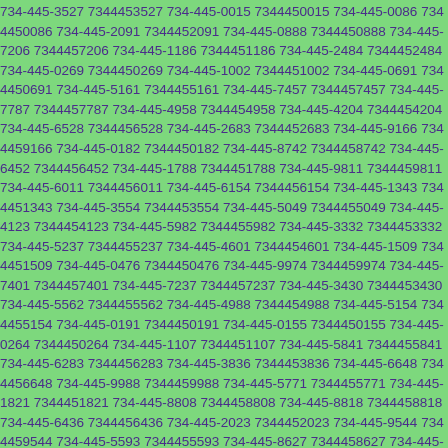734-445-3527 7344453527 734-445-0015 7344450015 734-445-0086 7344450086 734-445-2091 7344452091 734-445-0888 7344450888 734-445-7206 7344457206 734-445-1186 7344451186 734-445-2484 7344452484 734-445-0269 7344450269 734-445-1002 7344451002 734-445-0691 7344450691 734-445-5161 7344455161 734-445-7457 7344457457 734-445-7787 7344457787 734-445-4958 7344454958 734-445-4204 7344454204 734-445-6528 7344456528 734-445-2683 7344452683 734-445-9166 7344459166 734-445-0182 7344450182 734-445-8742 7344458742 734-445-6452 7344456452 734-445-1788 7344451788 734-445-9811 7344459811 734-445-6011 7344456011 734-445-6154 7344456154 734-445-1343 7344451343 734-445-3554 7344453554 734-445-5049 7344455049 734-445-4123 7344454123 734-445-5982 7344455982 734-445-3332 7344453332 734-445-5237 7344455237 734-445-4601 7344454601 734-445-1509 7344451509 734-445-0476 7344450476 734-445-9974 7344459974 734-445-7401 7344457401 734-445-7237 7344457237 734-445-3430 7344453430 734-445-5562 7344455562 734-445-4988 7344454988 734-445-5154 7344455154 734-445-0191 7344450191 734-445-0155 7344450155 734-445-0264 7344450264 734-445-1107 7344451107 734-445-5841 7344455841 734-445-6283 7344456283 734-445-3836 7344453836 734-445-6648 7344456648 734-445-9988 7344459988 734-445-5771 7344455771 734-445-1821 7344451821 734-445-8808 7344458808 734-445-8818 7344458818 734-445-6436 7344456436 734-445-2023 7344452023 734-445-9544 7344459544 734-445-5593 7344455593 734-445-8627 7344458627 734-445-5249 7344455249 734-445-9272 7344459272 734-445-0689 7344450689 734-445-1287 7344451287